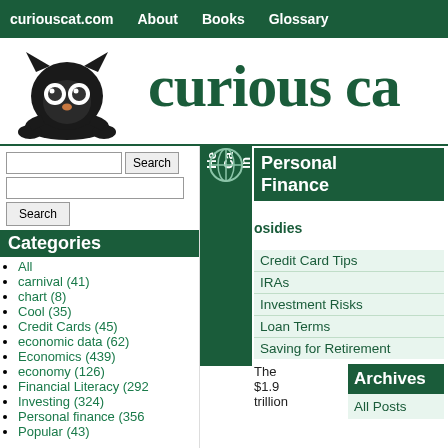curiouscat.com  About  Books  Glossary
[Figure (logo): Curious Cat logo: black cartoon cat peeking over a line, with large eyes]
curious ca
Search [input] [Search button]
[input]
Search
Categories
All
carnival (41)
chart (8)
Cool (35)
Credit Cards (45)
economic data (62)
Economics (439)
economy (126)
Financial Literacy (292)
Investing (324)
Personal finance (356)
Popular (43)
Personal Finance
Credit Card Tips
IRAs
Investment Risks
Loan Terms
Saving for Retirement
The $1.9 trillion
Archives
All Posts